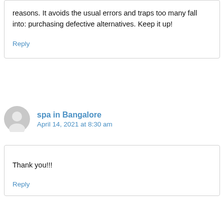reasons. It avoids the usual errors and traps too many fall into: purchasing defective alternatives. Keep it up!
Reply
spa in Bangalore
April 14, 2021 at 8:30 am
Thank you!!!
Reply